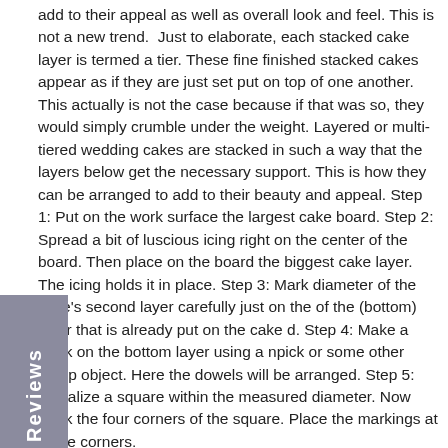add to their appeal as well as overall look and feel. This is not a new trend. Just to elaborate, each stacked cake layer is termed a tier. These fine finished stacked cakes appear as if they are just set put on top of one another. This actually is not the case because if that was so, they would simply crumble under the weight. Layered or multi-tiered wedding cakes are stacked in such a way that the layers below get the necessary support. This is how they can be arranged to add to their beauty and appeal. Step 1: Put on the work surface the largest cake board. Step 2: Spread a bit of luscious icing right on the center of the board. Then place on the board the biggest cake layer. The icing holds it in place. Step 3: Mark diameter of the cake's second layer carefully just on the of the (bottom) layer that is already put on the cake d. Step 4: Make a mark on the bottom layer using a npick or some other sharp object. Here the dowels will be arranged. Step 5: Visualize a square within the measured diameter. Now mark the four corners of the square. Place the markings at these corners.